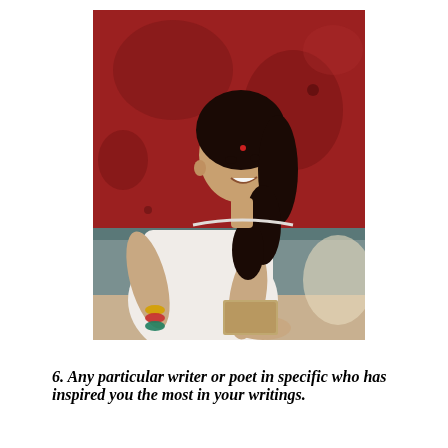[Figure (photo): A young Indian woman in a white kurta with colorful bangles, smiling, seated against a weathered red wall. She has long curly dark hair and a bindi. Photographed in a candid style.]
6. Any particular writer or poet in specific who has inspired you the most in your writings.